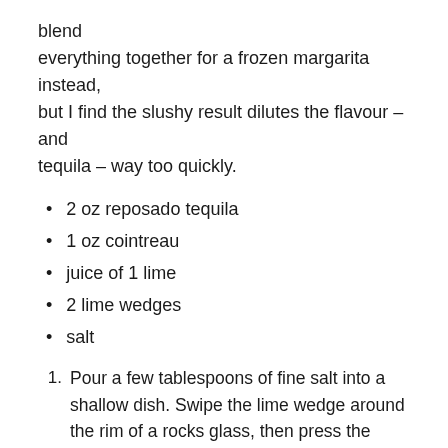blend everything together for a frozen margarita instead, but I find the slushy result dilutes the flavour – and tequila – way too quickly.
2 oz reposado tequila
1 oz cointreau
juice of 1 lime
2 lime wedges
salt
1. Pour a few tablespoons of fine salt into a shallow dish. Swipe the lime wedge around the rim of a rocks glass, then press the moistened rim into the salt to cover liberally. Fill the glass with ice
2. Combine tequila, Cointreau and lime juice in a